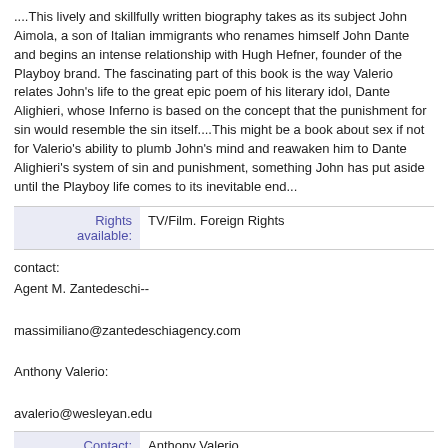....This lively and skillfully written biography takes as its subject John Aimola, a son of Italian immigrants who renames himself John Dante and begins an intense relationship with Hugh Hefner, founder of the Playboy brand. The fascinating part of this book is the way Valerio relates John's life to the great epic poem of his literary idol, Dante Alighieri, whose Inferno is based on the concept that the punishment for sin would resemble the sin itself....This might be a book about sex if not for Valerio's ability to plumb John's mind and reawaken him to Dante Alighieri's system of sin and punishment, something John has put aside until the Playboy life comes to its inevitable end...
|  |  |
| --- | --- |
| Rights available: | TV/Film. Foreign Rights |
contact:
Agent M. Zantedeschi--

massimiliano@zantedeschiagency.com

Anthony Valerio:

avalerio@wesleyan.edu
|  |  |
| --- | --- |
| Contact: | Anthony Valerio
avalerio@wesleyan.edu
phone: 8603012130
6 BELLEVUE PLACE, Middletown, CT., Middletown, CT 06457 |
| Offering #: | 18876 |